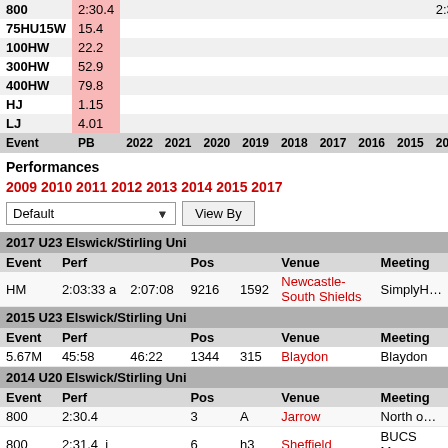| Event | PB | 2022 | 2021 | 2020 | 2019 | 2018 | 2017 | 2016 | 2015 | 2014 |
| --- | --- | --- | --- | --- | --- | --- | --- | --- | --- | --- |
| 800 | 2:30.4 |  |  |  |  |  |  |  |  | 2:30.4 |
| 75HU15W | 15.4 |  |  |  |  |  |  |  |  |  |
| 100HW | 22.2 |  |  |  |  |  |  |  |  |  |
| 300HW | 52.9 |  |  |  |  |  |  |  |  |  |
| 400HW | 79.8 |  |  |  |  |  |  |  |  |  |
| HJ | 1.15 |  |  |  |  |  |  |  |  |  |
| LJ | 4.01 |  |  |  |  |  |  |  |  |  |
| Event | PB | 2022 | 2021 | 2020 | 2019 | 2018 | 2017 | 2016 | 2015 | 2014 |
Performances
2009 2010 2011 2012 2013 2014 2015 2017
| Event | Perf |  | Pos |  | Venue | Meeting |
| --- | --- | --- | --- | --- | --- | --- |
| 2017 U23 Elswick/Stirling Uni |  |  |  |  |  |  |
| Event | Perf |  | Pos |  | Venue | Meeting |
| HM | 2:03:33 a | 2:07:08 | 9216 | 1592 | Newcastle-South Shields | SimplyH… |
| 2015 U23 Elswick/Stirling Uni |  |  |  |  |  |  |
| Event | Perf |  | Pos |  | Venue | Meeting |
| 5.67M | 45:58 | 46:22 | 1344 | 315 | Blaydon | Blaydon |
| 2014 U20 Elswick/Stirling Uni |  |  |  |  |  |  |
| Event | Perf |  | Pos |  | Venue | Meeting |
| 800 | 2:30.4 |  | 3 | A | Jarrow | North o… |
| 800 | 2:31.4  i |  | 6 | h3 | Sheffield | BUCS M… |